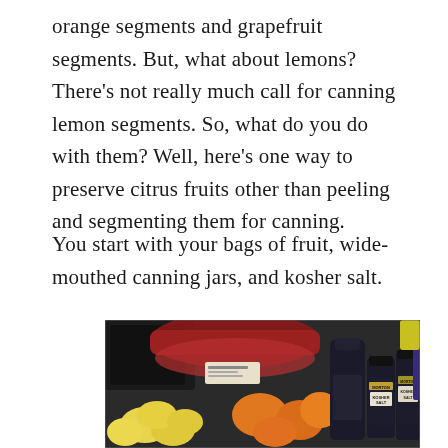orange segments and grapefruit segments. But, what about lemons?  There's not really much call for canning lemon segments.  So, what do you do with them?  Well, here's one way to preserve citrus fruits other than peeling and segmenting them for canning.
You start with your bags of fruit, wide-mouthed canning jars, and kosher salt.
[Figure (photo): Photo of bags of citrus fruit (lemons and oranges/grapefruits) alongside two Morton Kosher Salt containers on a table.]